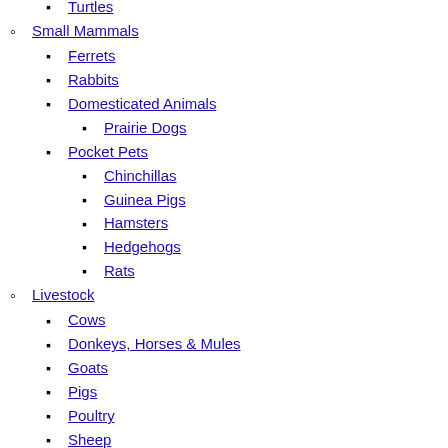Turtles
Small Mammals
Ferrets
Rabbits
Domesticated Animals
Prairie Dogs
Pocket Pets
Chinchillas
Guinea Pigs
Hamsters
Hedgehogs
Rats
Livestock
Cows
Donkeys, Horses & Mules
Goats
Pigs
Poultry
Sheep
Living With Your Pet
Bringing Your Pet Home
Children and Pets
Providing Care
Travel
Saving Goodbye